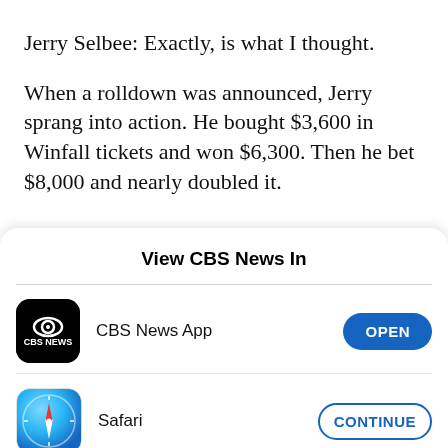Jerry Selbee: Exactly, is what I thought.
When a rolldown was announced, Jerry sprang into action. He bought $3,600 in Winfall tickets and won $6,300. Then he bet $8,000 and nearly doubled it.
View CBS News In
CBS News App
Safari